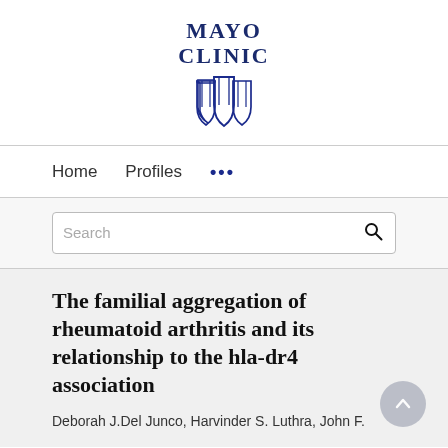[Figure (logo): Mayo Clinic logo with text 'MAYO CLINIC' and blue shield emblem]
Home   Profiles   ...
Search
The familial aggregation of rheumatoid arthritis and its relationship to the hla-dr4 association
Deborah J.Del Junco, Harvinder S. Luthra, John F.